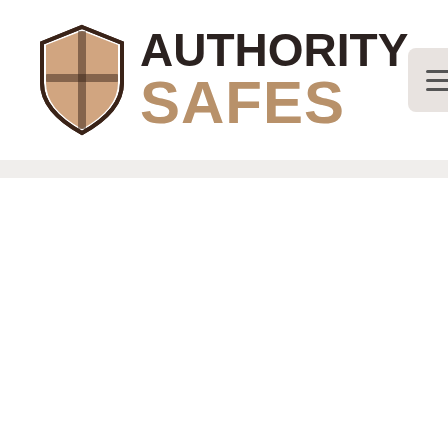[Figure (logo): Authority Safes logo: a shield icon with a cross/plus design in tan/brown tones on the left, and the text 'AUTHORITY' in dark charcoal bold uppercase and 'SAFES' in large tan/brown bold uppercase on the right. A hamburger menu button in a light grey rounded rectangle is in the upper right corner.]